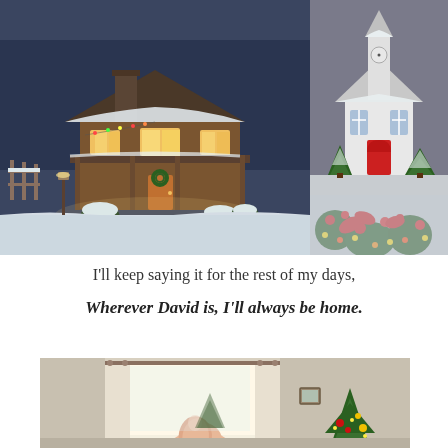[Figure (photo): A cozy snow-covered log cabin with warm glowing lights inside, surrounded by snow-dusted trees and shrubs at dusk/winter evening]
[Figure (photo): A small white church in snow with Christmas trees and red holiday decorations in the foreground]
I'll keep saying it for the rest of my days,
Wherever David is, I'll always be home.
[Figure (photo): Interior room with bright window, curtains, and Christmas tree decorations visible, with a hand/finger in the foreground]